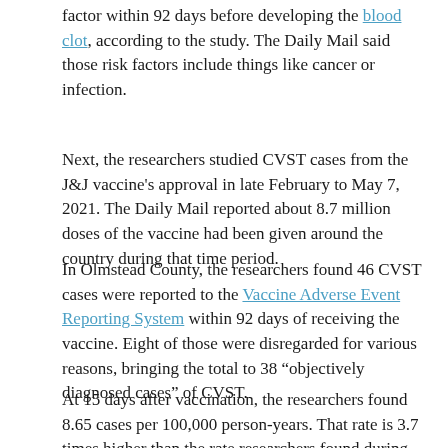factor within 92 days before developing the blood clot, according to the study. The Daily Mail said those risk factors include things like cancer or infection.
Next, the researchers studied CVST cases from the J&J vaccine's approval in late February to May 7, 2021. The Daily Mail reported about 8.7 million doses of the vaccine had been given around the country during that time period.
In Olmstead County, the researchers found 46 CVST cases were reported to the Vaccine Adverse Event Reporting System within 92 days of receiving the vaccine. Eight of those were disregarded for various reasons, bringing the total to 38 “objectively diagnosed cases” of CVST.
At 15 days after vaccination, the researchers found 8.65 cases per 100,000 person-years. That rate is 3.7 times higher than the rate researchers found during their 14-year analysis of the general population.